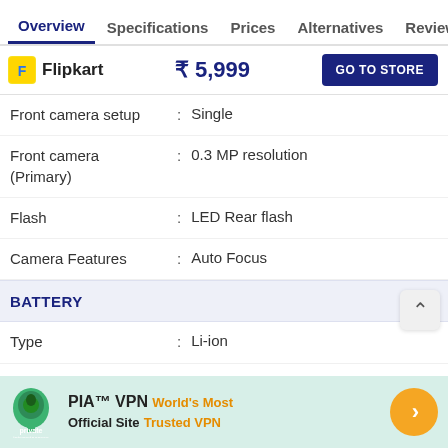Overview  Specifications  Prices  Alternatives  Reviews
Flipkart  ₹ 5,999  GO TO STORE
| Attribute |  | Value |
| --- | --- | --- |
| Front camera setup | : | Single |
| Front camera (Primary) | : | 0.3 MP resolution |
| Flash | : | LED Rear flash |
| Camera Features | : | Auto Focus |
BATTERY
| Attribute |  | Value |
| --- | --- | --- |
| Type | : | Li-ion |
| Capacity | : | 1400 mAh |
| Fast Charging | : | No |
STORAGE
[Figure (other): PIA VPN advertisement banner: Private Internet Access - World's Most Trusted VPN]